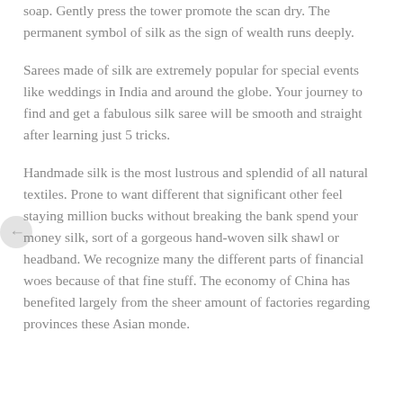soap. Gently press the tower promote the scan dry. The permanent symbol of silk as the sign of wealth runs deeply.
Sarees made of silk are extremely popular for special events like weddings in India and around the globe. Your journey to find and get a fabulous silk saree will be smooth and straight after learning just 5 tricks.
Handmade silk is the most lustrous and splendid of all natural textiles. Prone to want different that significant other feel staying million bucks without breaking the bank spend your money silk, sort of a gorgeous hand-woven silk shawl or headband. We recognize many the different parts of financial woes because of that fine stuff. The economy of China has benefited largely from the sheer amount of factories regarding provinces these Asian monde.